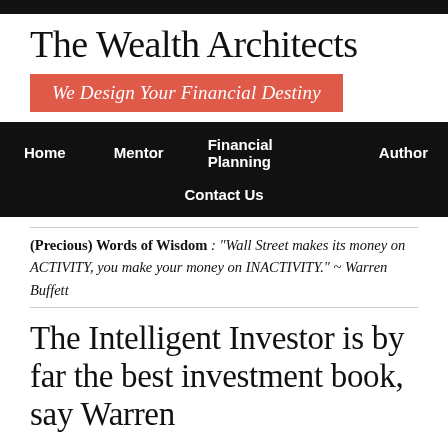The Wealth Architects
We Design Your Financial Destiny
Home   Mentor   Financial Planning   Author   Contact Us
(Precious) Words of Wisdom : "Wall Street makes its money on ACTIVITY, you make your money on INACTIVITY." ~ Warren Buffett
The Intelligent Investor is by far the best investment book, say Warren